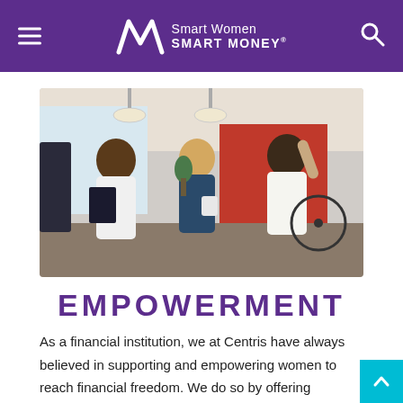Smart Women SMART MONEY
[Figure (photo): Three women sitting together laughing and talking in an office or casual workspace setting. One woman is writing on a clipboard, another holds a coffee cup, and the third is laughing heartily.]
EMPOWERMENT
As a financial institution, we at Centris have always believed in supporting and empowering women to reach financial freedom. We do so by offering financial resources like our Financial Wellness Center